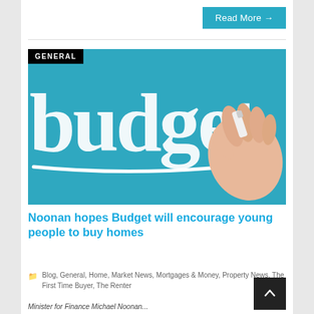Read More →
[Figure (photo): Photo of a hand writing 'budget' in white chalk/marker on a teal/blue background. The word 'budget' is in large white handwritten-style font. A 'GENERAL' badge appears in the top-left corner of the image.]
Noonan hopes Budget will encourage young people to buy homes
Blog, General, Home, Market News, Mortgages & Money, Property News, The First Time Buyer, The Renter
Minister for Finance Michael Noonan...